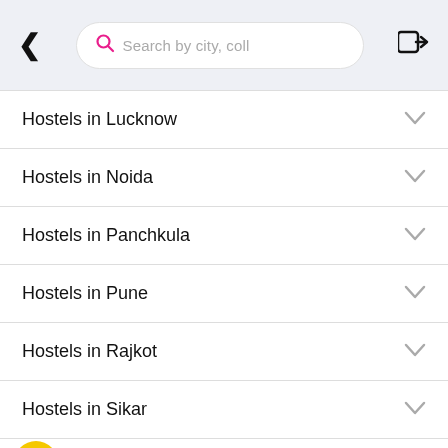Search by city, coll
Hostels in Lucknow
Hostels in Noida
Hostels in Panchkula
Hostels in Pune
Hostels in Rajkot
Hostels in Sikar
Hostels in surat